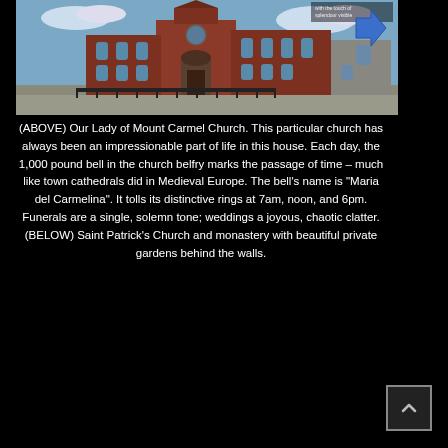[Figure (photo): Photograph of Our Lady of Mount Carmel Church, a large red brick Gothic-style church with a blue arrow annotation pointing to a detail of the building at upper right.]
(ABOVE) Our Lady of Mount Carmel Church. This particular church has always been an impressionable part of life in this house. Each day, the 1,000 pound bell in the church belfry marks the passage of time – much like town cathedrals did in Medieval Europe. The bell's name is "Maria del Carmelina". It tolls its distinctive rings at 7am, noon, and 6pm. Funerals are a single, solemn tone; weddings a joyous, chaotic clatter. (BELOW) Saint Patrick's Church and monastery with beautiful private gardens behind the walls.